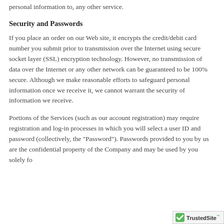personal information to, any other service.
Security and Passwords
If you place an order on our Web site, it encrypts the credit/debit card number you submit prior to transmission over the Internet using secure socket layer (SSL) encryption technology. However, no transmission of data over the Internet or any other network can be guaranteed to be 100% secure. Although we make reasonable efforts to safeguard personal information once we receive it, we cannot warrant the security of information we receive.
Portions of the Services (such as our account registration) may require registration and log-in processes in which you will select a user ID and password (collectively, the "Password"). Passwords provided to you by us are the confidential property of the Company and may be used by you solely fo
[Figure (logo): TrustedSite logo with green checkmark badge in the bottom right corner]